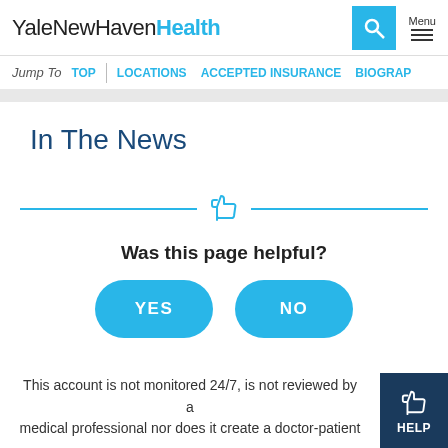YaleNewHavenHealth
Jump To  TOP  |  LOCATIONS  ACCEPTED INSURANCE  BIOGRAP
In The News
Was this page helpful?
YES
NO
This account is not monitored 24/7, is not reviewed by a medical professional nor does it create a doctor-patient